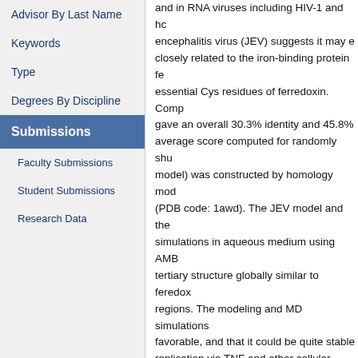Advisor By Last Name
Keywords
Type
Degrees By Discipline
Submissions
Faculty Submissions
Student Submissions
Research Data
and in RNA viruses including HIV-1 and hc encephalitis virus (JEV) suggests it may e closely related to the iron-binding protein fe essential Cys residues of ferredoxin. Comp gave an overall 30.3% identity and 45.8% average score computed for randomly shu model) was constructed by homology mod (PDB code: 1awd). The JEV model and the simulations in aqueous medium using AMB tertiary structure globally similar to feredox regions. The modeling and MD simulations favorable, and that it could be quite stable replication via TNF and other cellular stimu.
Structure and dynamics of a pre- PDF (Portable Document Forma 439 KB Created on 10/14/2020 Views: 325
Email this document to